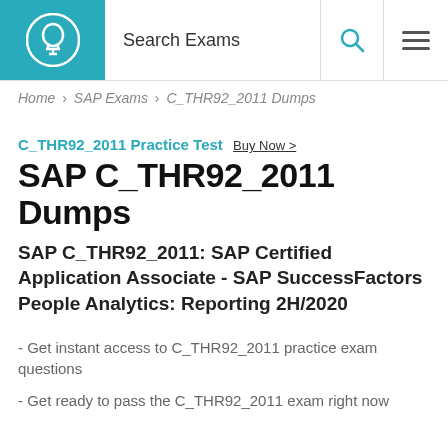Search Exams
Home > SAP Exams > C_THR92_2011 Dumps
C_THR92_2011 Practice Test Buy Now >
SAP C_THR92_2011 Dumps
SAP C_THR92_2011: SAP Certified Application Associate - SAP SuccessFactors People Analytics: Reporting 2H/2020
- Get instant access to C_THR92_2011 practice exam questions
- Get ready to pass the C_THR92_2011 exam right now